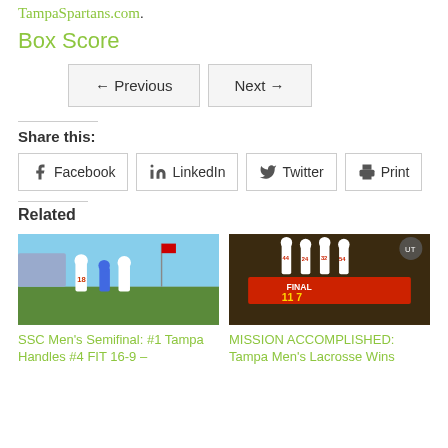TampaSpartans.com.
Box Score
← Previous   Next →
Share this:
Facebook  LinkedIn  Twitter  Print
Related
[Figure (photo): Lacrosse players on field, player #18 visible]
SSC Men's Semifinal: #1 Tampa Handles #4 FIT 16-9 –
[Figure (photo): Tampa Men's Lacrosse team celebrating, players #44, #24, #32, #54, #11, #7 visible]
MISSION ACCOMPLISHED: Tampa Men's Lacrosse Wins